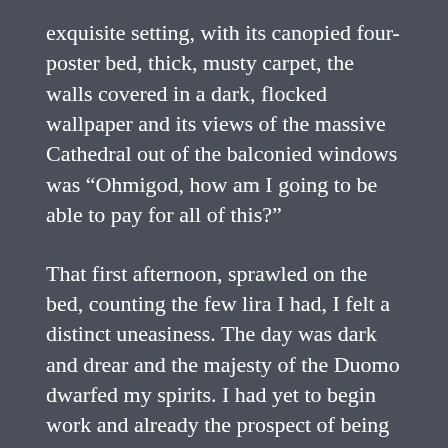exquisite setting, with its canopied four-poster bed, thick, musty carpet, the walls covered in a dark, flocked wallpaper and its views of the massive Cathedral out of the balconied windows was “Ohmigod, how am I going to be able to pay for all of this?”
That first afternoon, sprawled on the bed, counting the few lira I had, I felt a distinct uneasiness. The day was dark and drear and the majesty of the Duomo dwarfed my spirits. I had yet to begin work and already the prospect of being in debt was weighing heavily upon me. The Allbergo was old and fusty, even the furniture seemed antique, dark, heavy wood, ornately carved, while the coat-rack on the